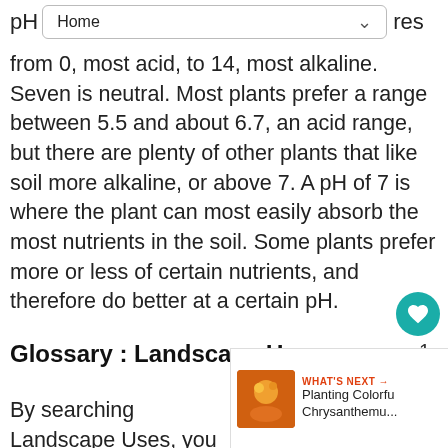pH  Home  res
from 0, most acid, to 14, most alkaline. Seven is neutral. Most plants prefer a range between 5.5 and about 6.7, an acid range, but there are plenty of other plants that like soil more alkaline, or above 7. A pH of 7 is where the plant can most easily absorb the most nutrients in the soil. Some plants prefer more or less of certain nutrients, and therefore do better at a certain pH.
Glossary : Landscape Uses
By searching Landscape Uses, you are able to pinpoint plants that are best suited for particular uses such as trellises, border